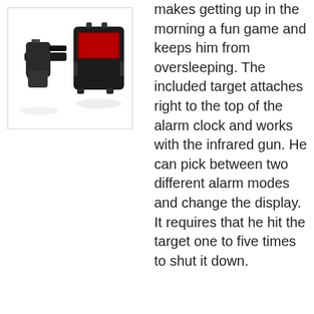[Figure (photo): Product photo of an infrared alarm clock with a gun accessory. The gun is black and positioned on the left, and the alarm clock with a red display is on the right. Both items are shown against a white background with slight reflections.]
makes getting up in the morning a fun game and keeps him from oversleeping. The included target attaches right to the top of the alarm clock and works with the infrared gun. He can pick between two different alarm modes and change the display. It requires that he hit the target one to five times to shut it down.